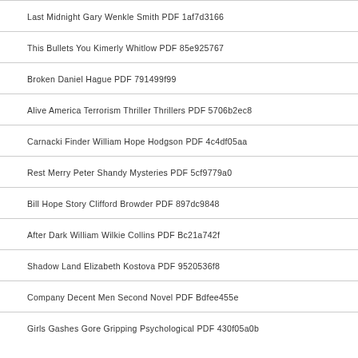Last Midnight Gary Wenkle Smith PDF 1af7d3166
This Bullets You Kimerly Whitlow PDF 85e925767
Broken Daniel Hague PDF 791499f99
Alive America Terrorism Thriller Thrillers PDF 5706b2ec8
Carnacki Finder William Hope Hodgson PDF 4c4df05aa
Rest Merry Peter Shandy Mysteries PDF 5cf9779a0
Bill Hope Story Clifford Browder PDF 897dc9848
After Dark William Wilkie Collins PDF Bc21a742f
Shadow Land Elizabeth Kostova PDF 9520536f8
Company Decent Men Second Novel PDF Bdfee455e
Girls Gashes Gore Gripping Psychological PDF 430f05a0b